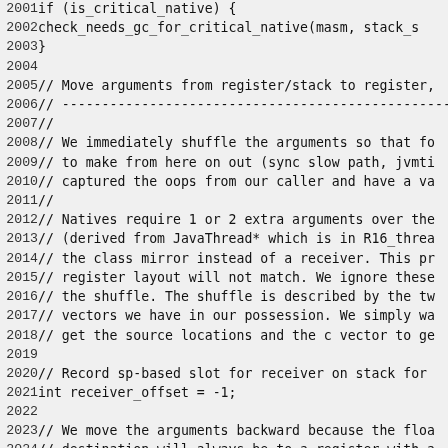Code listing lines 2001-2030: C++ source code with line numbers showing native method stub generation logic including gc checks, argument shuffling, and register management.